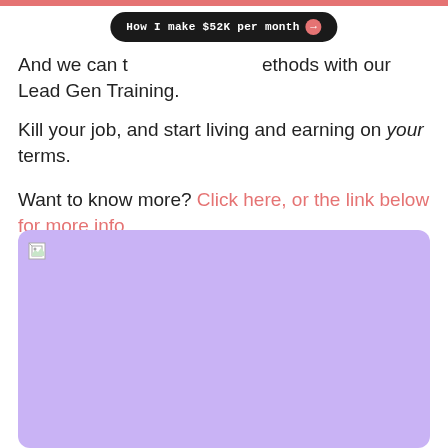[Figure (other): A dark rounded tooltip/banner overlay reading 'How I make $52K per month →' positioned near the top center of the page]
And we can teach you these methods with our Lead Gen Training.
Kill your job, and start living and earning on your terms.
Want to know more? Click here, or the link below for more info.
[Figure (other): A large lavender/purple rectangular image placeholder with a broken image icon in the top-left corner]